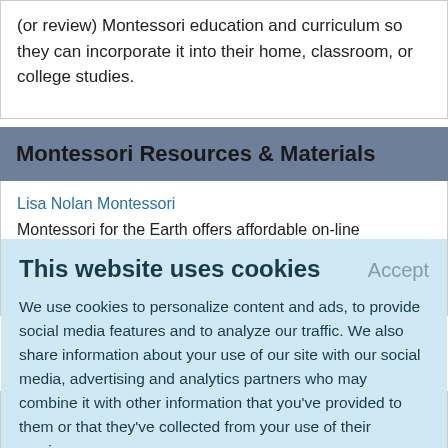(or review) Montessori education and curriculum so they can incorporate it into their home, classroom, or college studies.
Montessori Resources & Materials
Lisa Nolan Montessori
Montessori for the Earth offers affordable on-line Montessori
This website uses cookies
Accept
We use cookies to personalize content and ads, to provide social media features and to analyze our traffic. We also share information about your use of our site with our social media, advertising and analytics partners who may combine it with other information that you've provided to them or that they've collected from your use of their services.
Learn More.
word lists, puzzle cards, art cards, leaf nomenclature, maps,